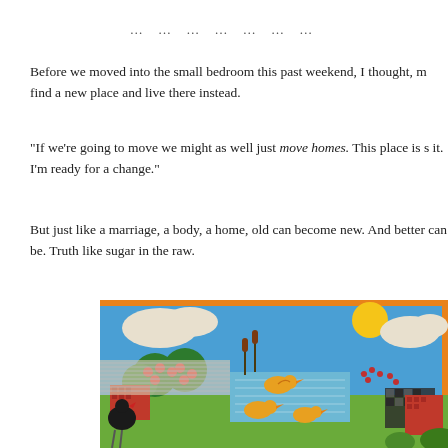… … … … … … …
Before we moved into the small bedroom this past weekend, I thought, m find a new place and live there instead.
"If we're going to move we might as well just move homes. This place is s it. I'm ready for a change."
But just like a marriage, a body, a home, old can become new. And better can be. Truth like sugar in the raw.
[Figure (photo): A colorful fabric wall hanging or tapestry depicting a folk-art style rural scene with orange and apple trees, a pond with yellow ducks, a black rooster, red houses with brick detailing, green trees with red stars, a bright sun, clouds, and blue sky. The border is orange fabric.]